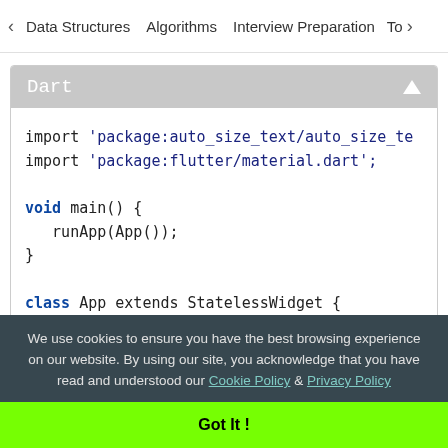< Data Structures   Algorithms   Interview Preparation   To>
[Figure (screenshot): Dart code editor panel showing Flutter Dart code with a gray header bar labeled 'Dart' with an upward triangle. Code shows: import 'package:auto_size_text/auto_size_te... import 'package:flutter/material.dart'; void main() { runApp(App()); } class App extends StatelessWidget { @override Widget build(BuildContext context) {]
We use cookies to ensure you have the best browsing experience on our website. By using our site, you acknowledge that you have read and understood our Cookie Policy & Privacy Policy
Got It !